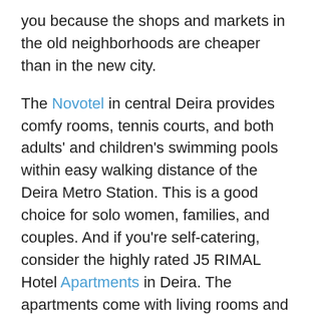you because the shops and markets in the old neighborhoods are cheaper than in the new city.
The Novotel in central Deira provides comfy rooms, tennis courts, and both adults' and children's swimming pools within easy walking distance of the Deira Metro Station. This is a good choice for solo women, families, and couples. And if you're self-catering, consider the highly rated J5 RIMAL Hotel Apartments in Deira. The apartments come with living rooms and kitchenettes, so you can prepare your own meals and cut costs. Some of the higher-spec apartments also offer washing machines.
Business Bay and Downtown Dubai
This is the most central area of Dubai situated around the Dubai Mall between Old Dubai and Dubai Marina.